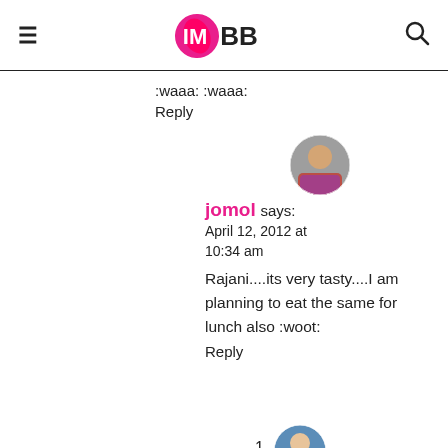IMBB
:waaa: :waaa:
Reply
[Figure (photo): Circular avatar photo of user jomol showing a person in a plaid/checkered shirt]
jomol says:
April 12, 2012 at 10:34 am
Rajani....its very tasty....I am planning to eat the same for lunch also :woot:
Reply
[Figure (photo): Circular avatar photo of another user, partially visible at bottom right]